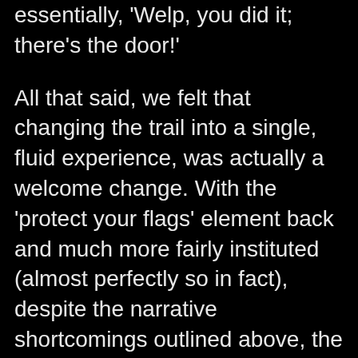essentially, 'Welp, you did it; there's the door!'
All that said, we felt that changing the trail into a single, fluid experience, was actually a welcome change. With the 'protect your flags' element back and much more fairly instituted (almost perfectly so in fact), despite the narrative shortcomings outlined above, the trail was actually more FUN than last season. I think that if the Estate chooses to employ a similar configuration next season, but adds in a stronger narrative, a more complex challenge, and more meaningful interactions with the other characters…